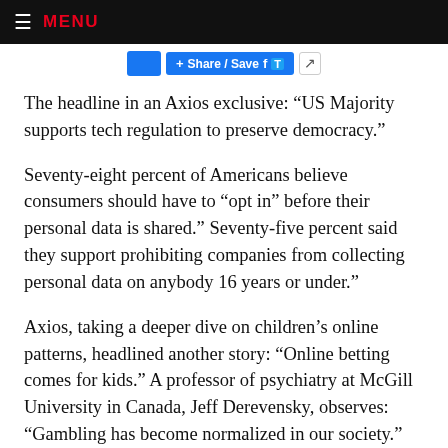≡ MENU
[Figure (screenshot): Share/Save bar with Facebook and Twitter icons]
The headline in an Axios exclusive: “US Majority supports tech regulation to preserve democracy.”
Seventy-eight percent of Americans believe consumers should have to “opt in” before their personal data is shared.” Seventy-five percent said they support prohibiting companies from collecting personal data on anybody 16 years or under.”
Axios, taking a deeper dive on children’s online patterns, headlined another story: “Online betting comes for kids.” A professor of psychiatry at McGill University in Canada, Jeff Derevensky, observes: “Gambling has become normalized in our society.”
There is with gambling, as with most online offerings, a